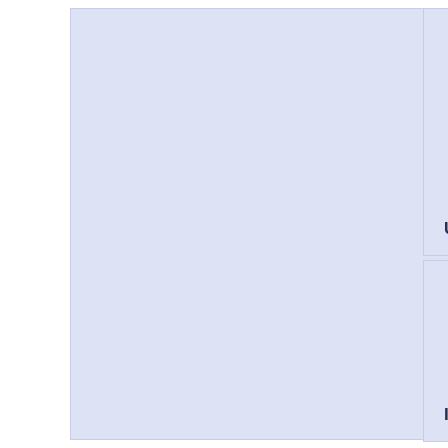[Figure (other): Left tall panel - light blue-purple table cell, part of a larger table layout, no text visible]
Universities (list)
Institutions by type